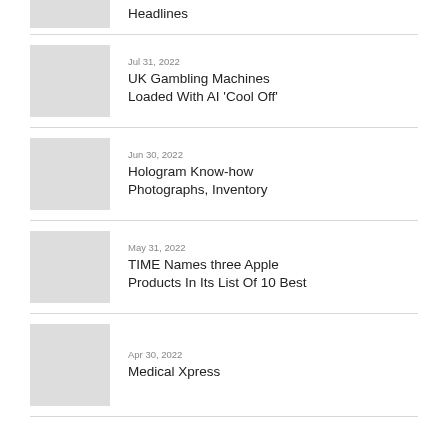Headlines
Jul 31, 2022
UK Gambling Machines Loaded With AI 'Cool Off'
Jun 30, 2022
Hologram Know-how Photographs, Inventory
May 31, 2022
TIME Names three Apple Products In Its List Of 10 Best
Apr 30, 2022
Medical Xpress